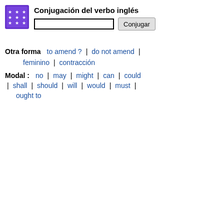[Figure (logo): Purple square logo with white stars arranged in a 3x3 grid pattern]
Conjugación del verbo inglés
Otra forma   to amend ?  |  do not amend  |  feminino  |  contracción
Modal :  no  |  may  |  might  |  can  |  could  |  shall  |  should  |  will  |  would  |  must  |  ought to